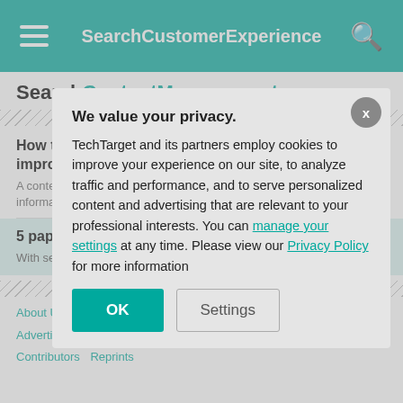SearchCustomerExperience
SearchContentManagement
How to create an e-commerce content strategy to improve sales
A content strategy that includes headless CMS, useful product information and visu…
5 paperless offi…
With seemingly endl… paperless office soft…
About Us | Editorial Ethic… | Advertisers | Business Pa… | Contributors | Reprints
We value your privacy. TechTarget and its partners employ cookies to improve your experience on our site, to analyze traffic and performance, and to serve personalized content and advertising that are relevant to your professional interests. You can manage your settings at any time. Please view our Privacy Policy for more information